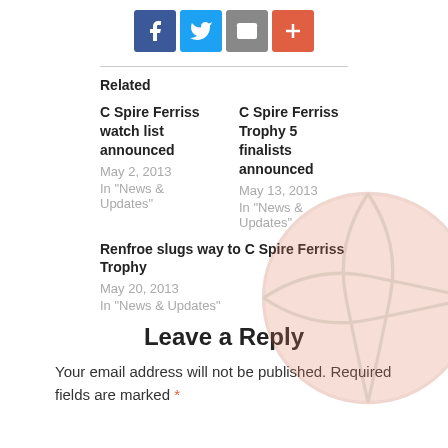[Figure (infographic): Social sharing icons row: Facebook (blue), Twitter (light blue), Email (gray), Plus/More (orange-red)]
Related
C Spire Ferriss watch list announced
May 2, 2013
In "News & Updates"
C Spire Ferriss Trophy 5 finalists announced
May 13, 2013
In "News & Updates"
Renfroe slugs way to C Spire Ferriss Trophy
May 20, 2013
In "News & Updates"
[Figure (photo): Faded basketball image in background, lower right area]
Leave a Reply
Your email address will not be published. Required fields are marked *